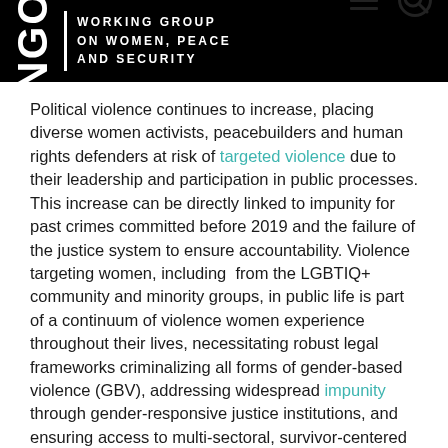NGO | WORKING GROUP ON WOMEN, PEACE AND SECURITY
Political violence continues to increase, placing diverse women activists, peacebuilders and human rights defenders at risk of targeted violence due to their leadership and participation in public processes. This increase can be directly linked to impunity for past crimes committed before 2019 and the failure of the justice system to ensure accountability. Violence targeting women, including from the LGBTIQ+ community and minority groups, in public life is part of a continuum of violence women experience throughout their lives, necessitating robust legal frameworks criminalizing all forms of gender-based violence (GBV), addressing widespread impunity through gender-responsive justice institutions, and ensuring access to multi-sectoral, survivor-centered services. In this context, Council members should emphasize the importance of strengthening protection m...